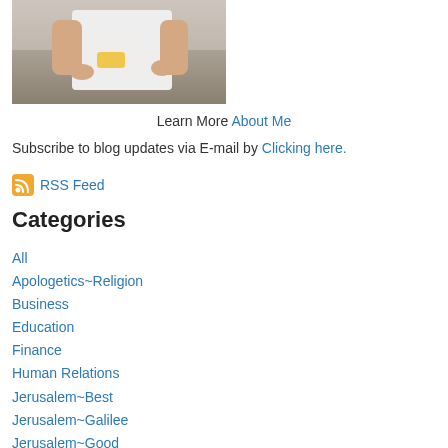[Figure (photo): A person in a white t-shirt holding a small white animal (possibly a goat or lamb), cropped to show torso and hands only.]
Learn More About Me
Subscribe to blog updates via E-mail by Clicking here.
RSS Feed
Categories
All
Apologetics~Religion
Business
Education
Finance
Human Relations
Jerusalem~Best
Jerusalem~Galilee
Jerusalem~Good
Jerusalem~Great